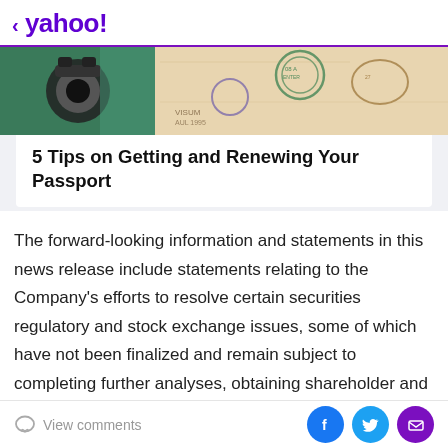< yahoo!
[Figure (photo): Passport photo with stamps and a camera/lock]
5 Tips on Getting and Renewing Your Passport
The forward-looking information and statements in this news release include statements relating to the Company's efforts to resolve certain securities regulatory and stock exchange issues, some of which have not been finalized and remain subject to completing further analyses, obtaining shareholder and creditor approval and satisfying the requirements of
View comments